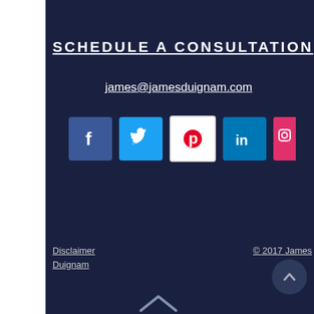SCHEDULE A CONSULTATION
james@jamesduignam.com
[Figure (infographic): Social media icons: Facebook, Twitter, Pinterest, LinkedIn, Instagram]
Disclaimer   Duignam   © 2017 James